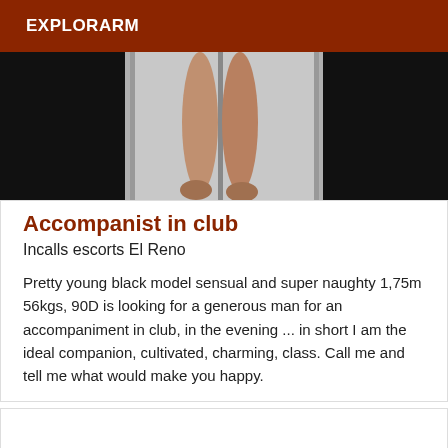EXPLORARM
[Figure (photo): Partial photo of a person's legs standing near a glass door, mostly dark background with a center-lit section]
Accompanist in club
Incalls escorts El Reno
Pretty young black model sensual and super naughty 1,75m 56kgs, 90D is looking for a generous man for an accompaniment in club, in the evening ... in short I am the ideal companion, cultivated, charming, class. Call me and tell me what would make you happy.